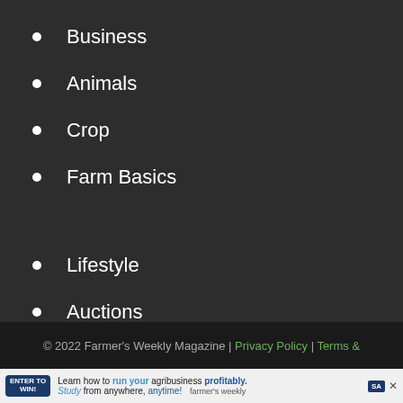Business
Animals
Crop
Farm Basics
Lifestyle
Auctions
Watch
© 2022 Farmer's Weekly Magazine | Privacy Policy | Terms &
[Figure (infographic): Advertisement banner: Learn how to run your agribusiness profitably. Study from anywhere, anytime! Farmer's Weekly logo with SA badge. Enter to Win badge on left.]